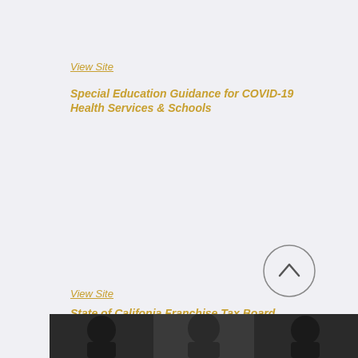View Site
Special Education Guidance for COVID-19 Health Services & Schools
View Site
State of Califonia Franchise Tax Board
View Site
[Figure (photo): Dark photo of people at the bottom of the page]